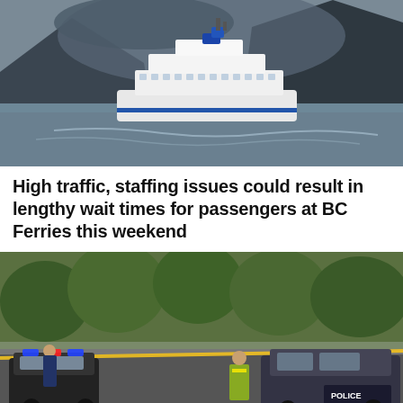[Figure (photo): A BC Ferries vessel sailing on calm water with dark stormy mountains in the background]
High traffic, staffing issues could result in lengthy wait times for passengers at BC Ferries this weekend
[Figure (photo): Police vehicles with lights on and yellow crime scene tape blocking a street, officers and a worker in hi-vis vest visible]